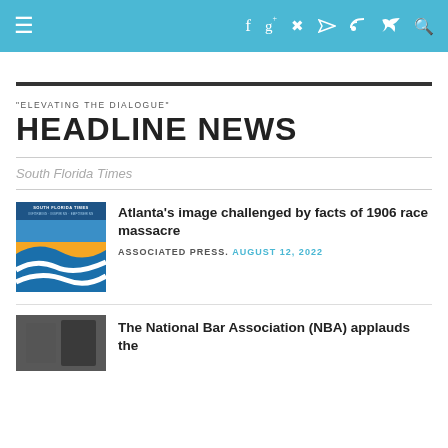≡  f  g+  p  RSS  Twitter  Search
"ELEVATING THE DIALOGUE"
HEADLINE NEWS
South Florida Times
[Figure (logo): South Florida Times logo with blue and orange wave design]
Atlanta's image challenged by facts of 1906 race massacre
ASSOCIATED PRESS. AUGUST 12, 2022
[Figure (photo): Partial photo at bottom of page, second news item thumbnail]
The National Bar Association (NBA) applauds the